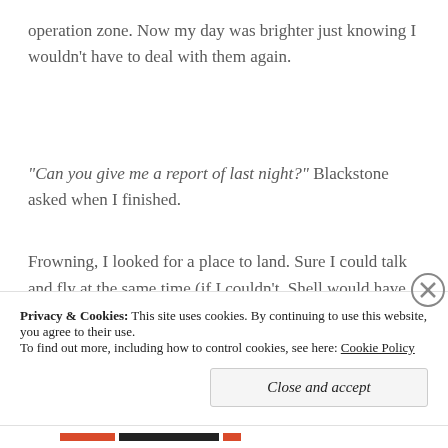operation zone. Now my day was brighter just knowing I wouldn't have to deal with them again.
"Can you give me a report of last night?" Blackstone asked when I finished.
Frowning, I looked for a place to land. Sure I could talk and fly at the same time (if I couldn't, Shell would have gotten me killed
Privacy & Cookies: This site uses cookies. By continuing to use this website, you agree to their use.
To find out more, including how to control cookies, see here: Cookie Policy
Close and accept